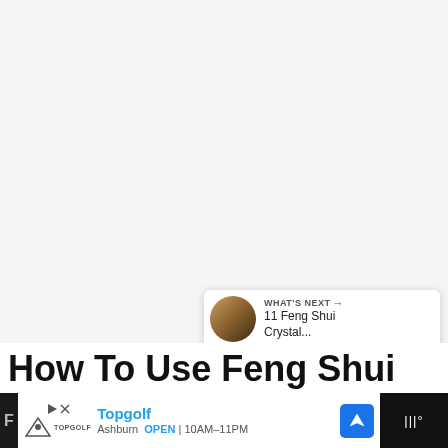[Figure (screenshot): Large blank/white image area taking up the top portion of a webpage about Feng Shui]
[Figure (screenshot): Heart/like button (blue circle with heart icon), count of 3, and share button (white circle with share icon) on the right side]
[Figure (screenshot): WHAT'S NEXT panel showing a thumbnail and text '11 Feng Shui Crystal...']
How To Use Feng Shui
[Figure (screenshot): Advertisement bar at bottom: Topgolf, Ashburn OPEN 10AM-11PM, navigation icon, weather widget on dark background]